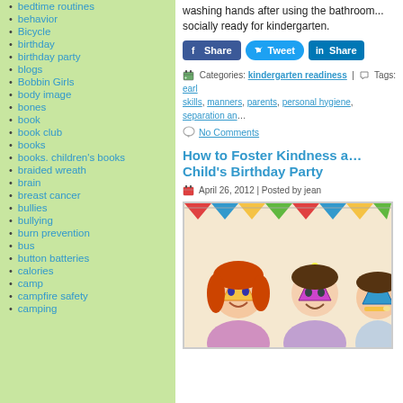bedtime routines
behavior
Bicycle
birthday
birthday party
blogs
Bobbin Girls
body image
bones
book
book club
books
books. children's books
braided wreath
brain
breast cancer
bullies
bullying
burn prevention
bus
button batteries
calories
camp
campfire safety
camping
washing hands after using the bathroom... socially ready for kindergarten.
Categories: kindergarten readiness | Tags: early skills, manners, parents, personal hygiene, separation and...
No Comments
How to Foster Kindness at Child's Birthday Party
April 26, 2012 | Posted by jean
[Figure (photo): Children at a birthday party wearing party hats, smiling]